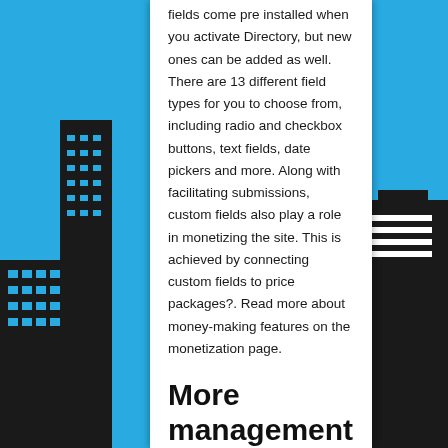fields come pre installed when you activate Directory, but new ones can be added as well. There are 13 different field types for you to choose from, including radio and checkbox buttons, text fields, date pickers and more. Along with facilitating submissions, custom fields also play a role in monetizing the site. This is achieved by connecting custom fields to price packages?. Read more about money-making features on the monetization page.
More management features
Bulk upload